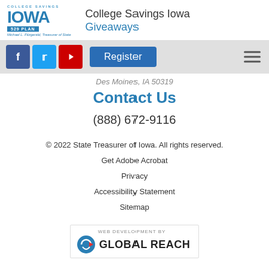College Savings Iowa Giveaways
Des Moines, IA 50319
Contact Us
(888) 672-9116
© 2022 State Treasurer of Iowa. All rights reserved.
Get Adobe Acrobat
Privacy
Accessibility Statement
Sitemap
[Figure (logo): Global Reach web development logo with stylized G icon]